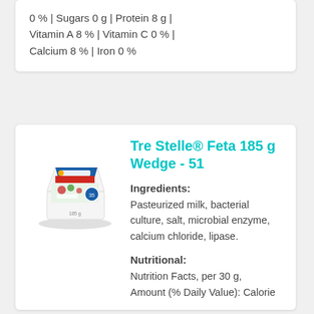0 % | Sugars 0 g | Protein 8 g | Vitamin A 8 % | Vitamin C 0 % | Calcium 8 % | Iron 0 %
Tre Stelle® Feta 185 g Wedge - 51
[Figure (photo): Product photo of Tre Stelle Feta 185g wedge package, showing a container of white feta cheese with blue and white packaging with a food photo on the label.]
Ingredients:
Pasteurized milk, bacterial culture, salt, microbial enzyme, calcium chloride, lipase.
Nutritional:
Nutrition Facts, per 30 g, Amount (% Daily Value): Calorie